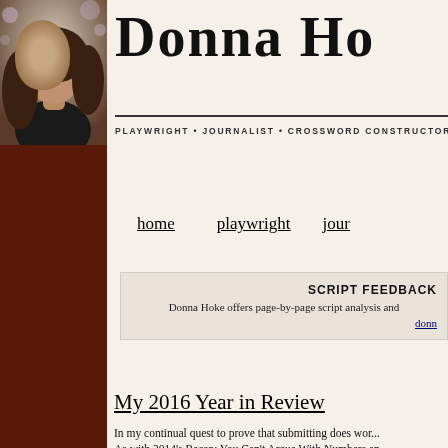[Figure (photo): Headshot of Donna Hoke, a woman with long brown hair wearing a dark top, against a blurred background]
Donna Ho
PLAYWRIGHT • JOURNALIST • CROSSWORD CONSTRUCTOR • CHIL
home   playwright   journ
SCRIPT FEEDBACK
Donna Hoke offers page-by-page script analysis and
donn
My 2016 Year in Review
In my continual quest to prove that submitting does wor... As with 2014's Recap: You Can't Argue With Numbers an... yields results. More than that, consistency yields momen...
Tags: 5th Wall Productions, Applause books, Celebration STONE, Official Playwrights of Facebook, ON THE ROO